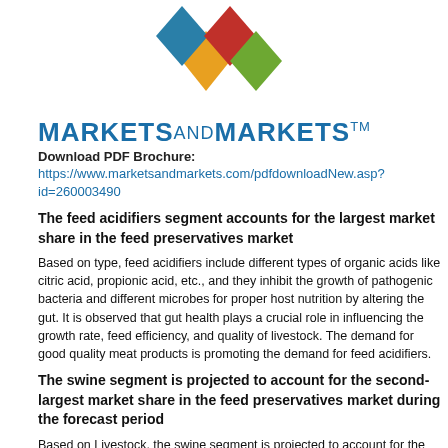[Figure (logo): MarketsandMarkets diamond logo consisting of four colored diamond shapes (yellow, teal/blue, red, green) arranged in a 2x2 grid pattern]
MARKETSANDMARKETS™
Download PDF Brochure:
https://www.marketsandmarkets.com/pdfdownloadNew.asp?id=260003490
The feed acidifiers segment accounts for the largest market share in the feed preservatives market
Based on type, feed acidifiers include different types of organic acids like citric acid, propionic acid, etc., and they inhibit the growth of pathogenic bacteria and different microbes for proper host nutrition by altering the gut. It is observed that gut health plays a crucial role in influencing the growth rate, feed efficiency, and quality of livestock. The demand for good quality meat products is promoting the demand for feed acidifiers.
The swine segment is projected to account for the second-largest market share in the feed preservatives market during the forecast period
Based on Livestock, the swine segment is projected to account for the